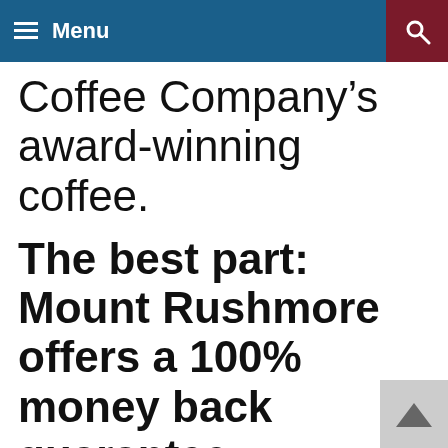Menu
Coffee Company’s award-winning coffee.
The best part: Mount Rushmore offers a 100% money back guarantee.
No need to even return the coffee, if you aren’t completely satisfied.